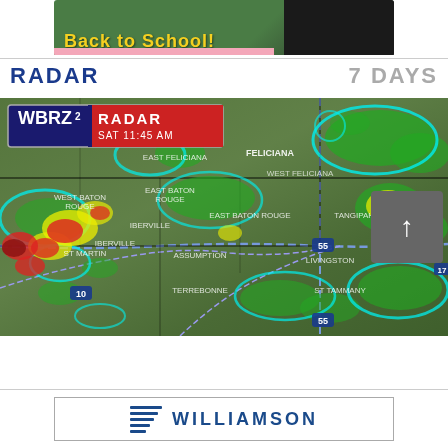[Figure (photo): Back to School image with green chalkboard background, yellow text reading 'Back to School!', pink bar at bottom, and dark/black area on right side]
RADAR
7 DAYS
[Figure (map): WBRZ 2 Radar map showing weather radar for Louisiana area, dated SAT 11:45 AM, with green, yellow, red and cyan precipitation indicators overlaid on satellite map]
[Figure (logo): Williamson logo with horizontal lines graphic and bold blue text reading WILLIAMSON]